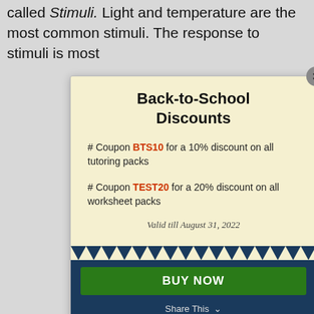called Stimuli. Light and temperature are the most common stimuli. The response to stimuli is most
Back-to-School Discounts
# Coupon BTS10 for a 10% discount on all tutoring packs
# Coupon TEST20 for a 20% discount on all worksheet packs
Valid till August 31, 2022